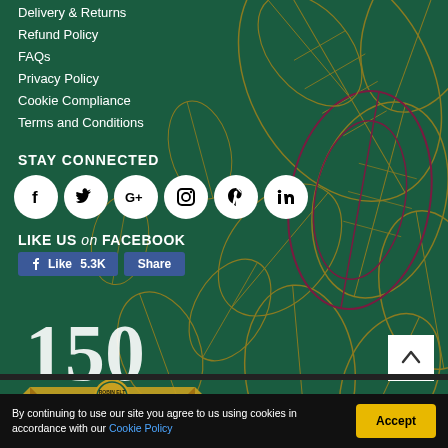Delivery & Returns
Refund Policy
FAQs
Privacy Policy
Cookie Compliance
Terms and Conditions
STAY CONNECTED
[Figure (other): Social media icons row: Facebook, Twitter, Google+, Instagram, Pinterest, LinkedIn — white circles on dark green background]
LIKE US on FACEBOOK
[Figure (other): Facebook Like (5.3K) and Share buttons]
[Figure (logo): Robin Elt Shoes 150th anniversary logo — 1872 to 2022, A Family Heritage in Footwear]
[Figure (other): Back to top arrow button (white square with up chevron)]
By continuing to use our site you agree to us using cookies in accordance with our Cookie Policy